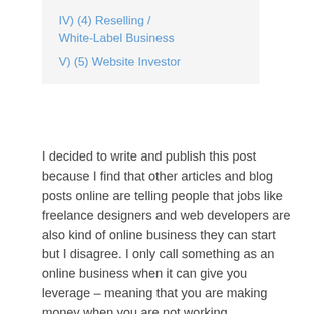IV)  (4) Reselling / White-Label Business
V)  (5) Website Investor
I decided to write and publish this post because I find that other articles and blog posts online are telling people that jobs like freelance designers and web developers are also kind of online business they can start but I disagree. I only call something as an online business when it can give you leverage – meaning that you are making money when you are not working.
If you are a developer or designer providing a